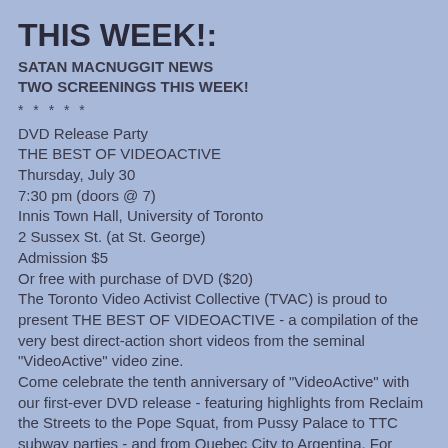THIS WEEK!:
SATAN MACNUGGIT NEWS
TWO SCREENINGS THIS WEEK!
* * * * *
DVD Release Party
THE BEST OF VIDEOACTIVE
Thursday, July 30
7:30 pm (doors @ 7)
Innis Town Hall, University of Toronto
2 Sussex St. (at St. George)
Admission $5
Or free with purchase of DVD ($20)
The Toronto Video Activist Collective (TVAC) is proud to present THE BEST OF VIDEOACTIVE - a compilation of the very best direct-action short videos from the seminal "VideoActive" video zine.
Come celebrate the tenth anniversary of "VideoActive" with our first-ever DVD release - featuring highlights from Reclaim the Streets to the Pope Squat, from Pussy Palace to TTC subway parties - and from Quebec City to Argentina. For more information and interviews, please contact